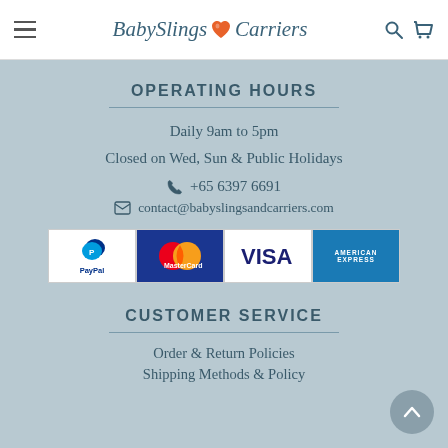BabySlings & Carriers — navigation header
OPERATING HOURS
Daily 9am to 5pm
Closed on Wed, Sun & Public Holidays
☎ +65 6397 6691
✉ contact@babyslingsandcarriers.com
[Figure (other): Payment method logos: PayPal, MasterCard, VISA, American Express]
CUSTOMER SERVICE
Order & Return Policies
Shipping Methods & Policy